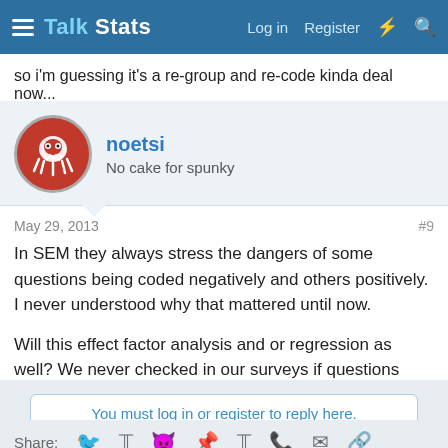Talk Stats — Log in  Register
so i'm guessing it's a re-group and re-code kinda deal now...
noetsi
No cake for spunky
May 29, 2013   #9
In SEM they always stress the dangers of some questions being coded negatively and others positively. I never understood why that mattered until now.

Will this effect factor analysis and or regression as well? We never checked in our surveys if questions were positively or negatively worded.
You must log in or register to reply here.
Share: